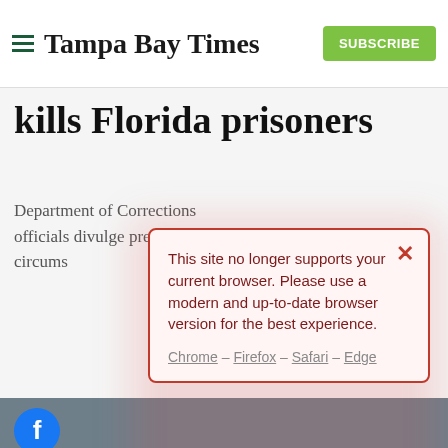Tampa Bay Times | SUBSCRIBE
kills Florida prisoners
Department of Corrections officials divulge precious… circums…
This site no longer supports your current browser. Please use a modern and up-to-date browser version for the best experience. Chrome – Firefox – Safari – Edge